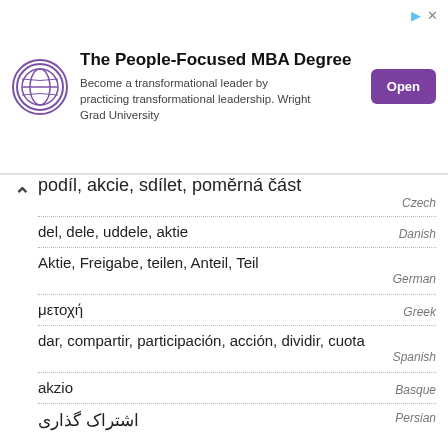[Figure (other): Advertisement banner: The People-Focused MBA Degree. Become a transformational leader by practicing transformational leadership. Wright Grad University. Open button.]
podíl, akcie, sdílet, poměrná část — Czech
del, dele, uddele, aktie — Danish
Aktie, Freigabe, teilen, Anteil, Teil — German
μετοχή — Greek
dar, compartir, participación, acción, dividir, cuota — Spanish
akzio — Basque
اشتراک گذاری — Persian